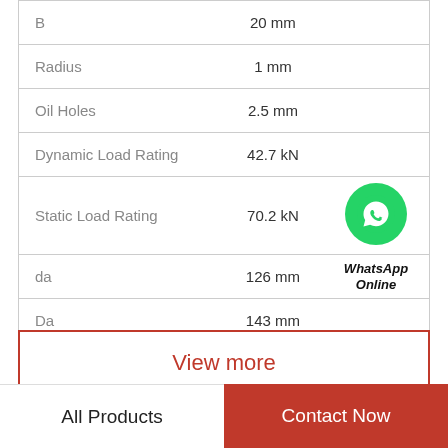| Parameter | Value |
| --- | --- |
| B | 20 mm |
| Radius | 1 mm |
| Oil Holes | 2.5 mm |
| Dynamic Load Rating | 42.7 kN |
| Static Load Rating | 70.2 kN |
| da | 126 mm |
| Da | 143 mm |
View more
All Products
Contact Now